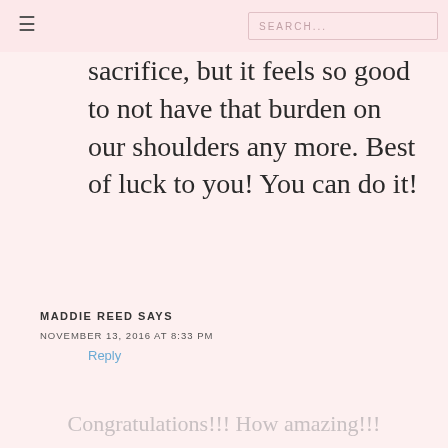☰  SEARCH...
sacrifice, but it feels so good to not have that burden on our shoulders any more. Best of luck to you! You can do it!
Reply
MADDIE REED SAYS
NOVEMBER 13, 2016 AT 8:33 PM
Congratulations!!! How amazing!!!